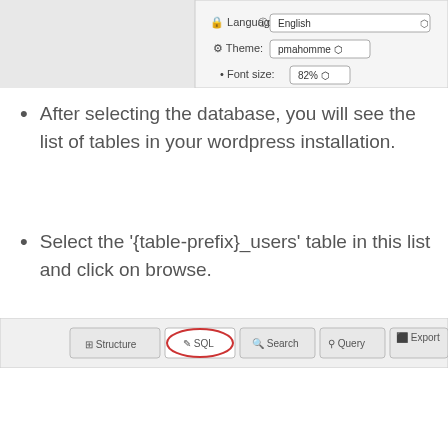[Figure (screenshot): Screenshot of phpMyAdmin settings panel showing Language (English), Theme (pmahomme), and Font size (82%) options]
After selecting the database, you will see the list of tables in your wordpress installation.
Select the '{table-prefix}_users' table in this list and click on browse.
[Figure (screenshot): Screenshot of phpMyAdmin navigation tabs showing Structure, SQL (circled in red), Search, Query, Export, Import tabs]